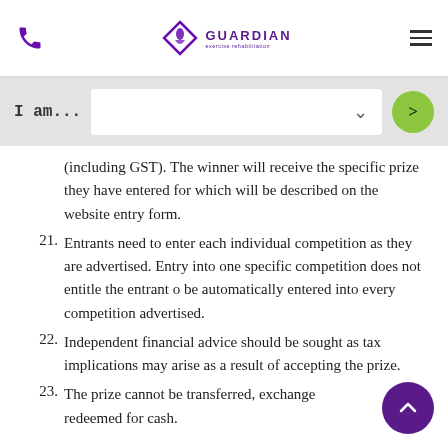Guardian Exercise Rehabilitation — phone, logo, menu
I am... (dropdown search bar with go button)
(including GST). The winner will receive the specific prize they have entered for which will be described on the website entry form.
21. Entrants need to enter each individual competition as they are advertised. Entry into one specific competition does not entitle the entrant o be automatically entered into every competition advertised.
22. Independent financial advice should be sought as tax implications may arise as a result of accepting the prize.
23. The prize cannot be transferred, exchanged or redeemed for cash.